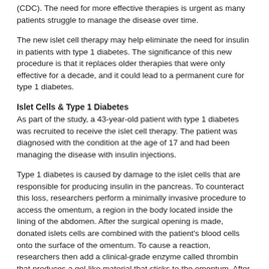(CDC). The need for more effective therapies is urgent as many patients struggle to manage the disease over time.
The new islet cell therapy may help eliminate the need for insulin in patients with type 1 diabetes. The significance of this new procedure is that it replaces older therapies that were only effective for a decade, and it could lead to a permanent cure for type 1 diabetes.
Islet Cells & Type 1 Diabetes
As part of the study, a 43-year-old patient with type 1 diabetes was recruited to receive the islet cell therapy. The patient was diagnosed with the condition at the age of 17 and had been managing the disease with insulin injections.
Type 1 diabetes is caused by damage to the islet cells that are responsible for producing insulin in the pancreas. To counteract this loss, researchers perform a minimally invasive procedure to access the omentum, a region in the body located inside the lining of the abdomen. After the surgical opening is made, donated islets cells are combined with the patient's blood cells onto the surface of the omentum. To cause a reaction, researchers then add a clinical-grade enzyme called thrombin that produces a gel-like material that sticks to the omentum. After this step, the scientists add a biodegradable scaffold mixture and